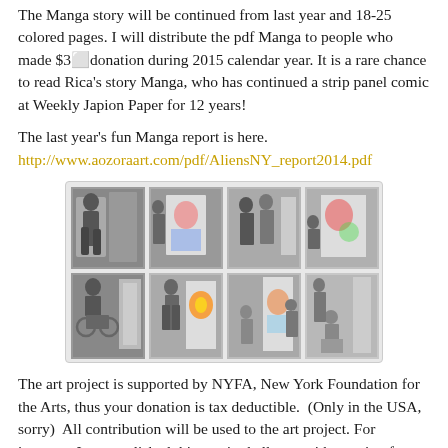The Manga story will be continued from last year and 18-25 colored pages. I will distribute the pdf Manga to people who made $3 donation during 2015 calendar year. It is a rare chance to read Rica's story Manga, who has continued a strip panel comic at Weekly Japion Paper for 12 years!
The last year's fun Manga report is here.
http://www.aozoraart.com/pdf/AliensNY_report2014.pdf
[Figure (photo): A collage of 8 photos arranged in a 4x2 grid showing an art project event. Photos depict people working on or viewing large artistic panels/murals at what appears to be a gallery or exhibition space. Some individuals are in wheelchairs. The artwork appears to include colorful illustrated characters.]
The art project is supported by NYFA, New York Foundation for the Arts, thus your donation is tax deductible.  (Only in the USA, sorry)  All contribution will be used to the art project. For instance, I accomplished this year's challenge with creating four special pedestals, which was my first step to change my art project into a more visually dynamic show...